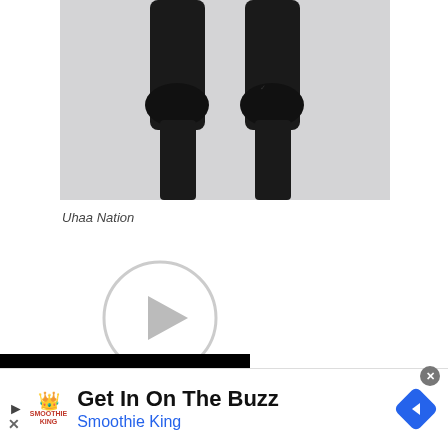[Figure (photo): Photo of person's legs from knees down wearing black knee pads/sleeves, gray background]
Uhaa Nation
[Figure (other): Video play button circle with right-pointing triangle]
Born in Sacramento, California, it was growing up in Atlanta, Georgia that Sesugh Uhaa fell in love with was really young, and my
[Figure (other): Advertisement: Get In On The Buzz - Smoothie King with logo and navigation icon]